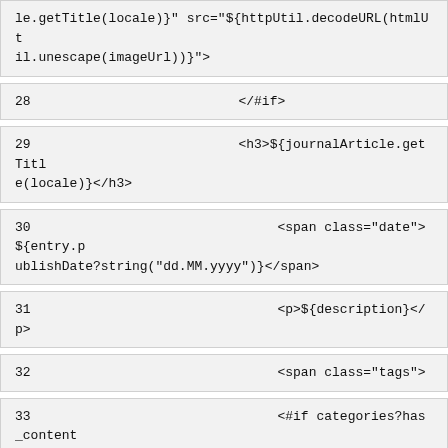le.getTitle(locale)}" src="${httpUtil.decodeURL(htmlUtil.unescape(imageUrl))}">
28    </#if>
29    <h3>${journalArticle.getTitle(locale)}</h3>
30    <span class="date">${entry.publishDate?string("dd.MM.yyyy")}</span>
31    <p>${description}</p>
32    <span class="tags">
33    <#if categories?has_content>